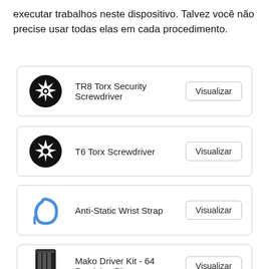executar trabalhos neste dispositivo. Talvez você não precise usar todas elas em cada procedimento.
TR8 Torx Security Screwdriver
T6 Torx Screwdriver
Anti-Static Wrist Strap
Mako Driver Kit - 64 Precision Bits